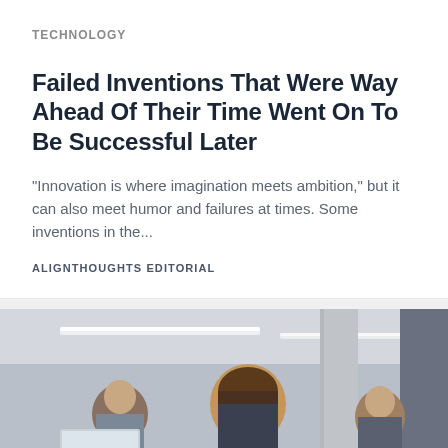TECHNOLOGY
Failed Inventions That Were Way Ahead Of Their Time Went On To Be Successful Later
"Innovation is where imagination meets ambition," but it can also meet humor and failures at times. Some inventions in the...
ALIGNTHOUGHTS EDITORIAL
[Figure (photo): Office scene with people working at computers, viewed from above/side angle, with ceiling lights visible]
By clicking "Accept" or continuing to use our site, you agree to our Privacy Policy for the website. ACCEPT